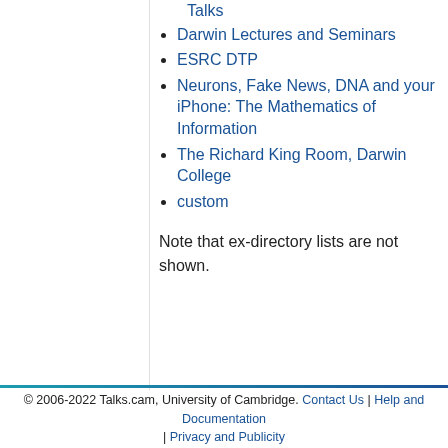Talks
Darwin Lectures and Seminars
ESRC DTP
Neurons, Fake News, DNA and your iPhone: The Mathematics of Information
The Richard King Room, Darwin College
custom
Note that ex-directory lists are not shown.
© 2006-2022 Talks.cam, University of Cambridge. Contact Us | Help and Documentation | Privacy and Publicity